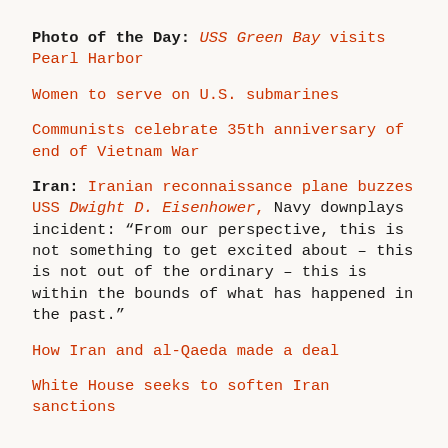Photo of the Day: USS Green Bay visits Pearl Harbor
Women to serve on U.S. submarines
Communists celebrate 35th anniversary of end of Vietnam War
Iran: Iranian reconnaissance plane buzzes USS Dwight D. Eisenhower, Navy downplays incident: "From our perspective, this is not something to get excited about - this is not out of the ordinary - this is within the bounds of what has happened in the past."
How Iran and al-Qaeda made a deal
White House seeks to soften Iran sanctions